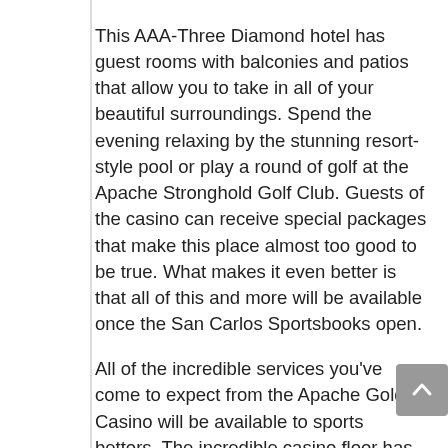This AAA-Three Diamond hotel has guest rooms with balconies and patios that allow you to take in all of your beautiful surroundings. Spend the evening relaxing by the stunning resort-style pool or play a round of golf at the Apache Stronghold Golf Club. Guests of the casino can receive special packages that make this place almost too good to be true. What makes it even better is that all of this and more will be available once the San Carlos Sportsbooks open.
All of the incredible services you've come to expect from the Apache Gold Casino will be available to sports bettors. The incredible casino floor has plenty of room to accommodate a sportsbook in San Carlos. Barring any